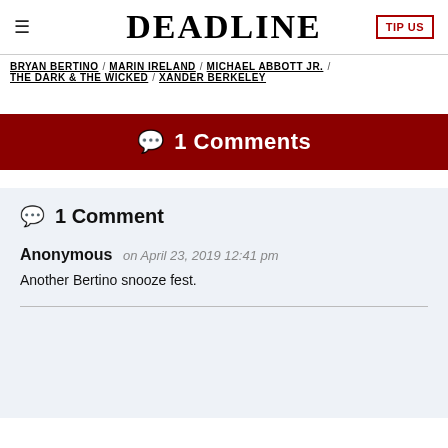DEADLINE
BRYAN BERTINO / MARIN IRELAND / MICHAEL ABBOTT JR. / THE DARK & THE WICKED / XANDER BERKELEY
1 Comments
1 Comment
Anonymous on April 23, 2019 12:41 pm
Another Bertino snooze fest.